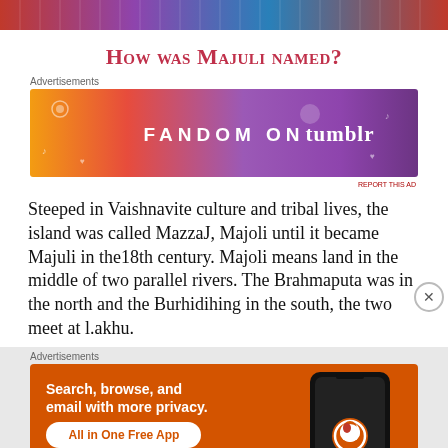[Figure (photo): Top banner image with colorful stripes, likely a loom or textile weaving in red/blue tones]
How was Majuli named?
[Figure (other): Advertisement banner: FANDOM ON tumblr — colorful gradient background with fireworks and music note doodles]
Steeped in Vaishnavite culture and tribal lives, the island was called MazzaJ, Majoli until it became Majuli in the18th century. Majoli means land in the middle of two parallel rivers. The Brahmaputa was in the north and the Burhidihing in the south, the two meet at l.akhu.
[Figure (other): Advertisement: DuckDuckGo — Search, browse, and email with more privacy. All in One Free App — orange background with phone mockup showing DuckDuckGo logo]